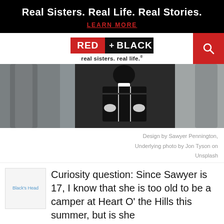Real Sisters. Real Life. Real Stories.
LEARN MORE
[Figure (logo): RED + BLACK logo with tagline 'real sisters. real life.' and red search button]
[Figure (photo): Hero image showing figure in black outfit against stone columns background]
Design by Sawyer Pennington,
Underlying photo by Jon Tyson on
Unsplash
Curiosity question: Since Sawyer is 17, I know that she is too old to be a camper at Heart O' the Hills this summer, but is she
DON'T MISS A THING
E-mail
Sign Up Now